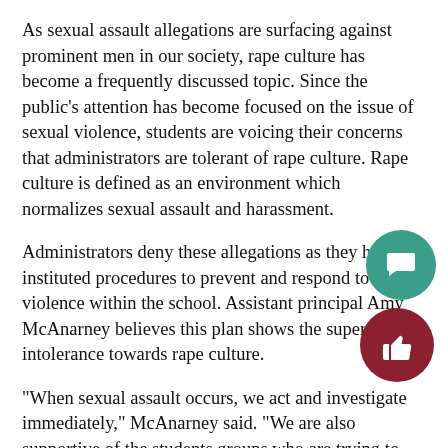As sexual assault allegations are surfacing against prominent men in our society, rape culture has become a frequently discussed topic. Since the public's attention has become focused on the issue of sexual violence, students are voicing their concerns that administrators are tolerant of rape culture. Rape culture is defined as an environment which normalizes sexual assault and harassment.
Administrators deny these allegations as they have instituted procedures to prevent and respond to sexual violence within the school. Assistant principal Amy McAnarney believes this plan shows the supervisors' intolerance towards rape culture.
"When sexual assault occurs, we act and investigate immediately," McAnarney said. "We are also supportive of the students groups who are trying to bring awareness of sexual assault to the building. I don't believe we are tolerant of rape culture in any way."
The administration's plan to minimize sexual assault brea...